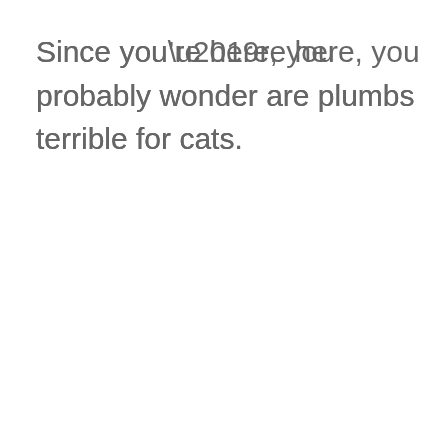Since you’re here, you probably wonder are plumbs terrible for cats.